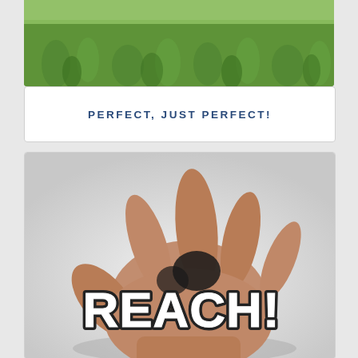[Figure (photo): Close-up photo of green grass/lawn seen from above, blurred background]
PERFECT, JUST PERFECT!
[Figure (photo): A hand reaching forward toward the camera against a blurred white/gray background, with bold text 'REACH!' overlaid in white with dark outline]